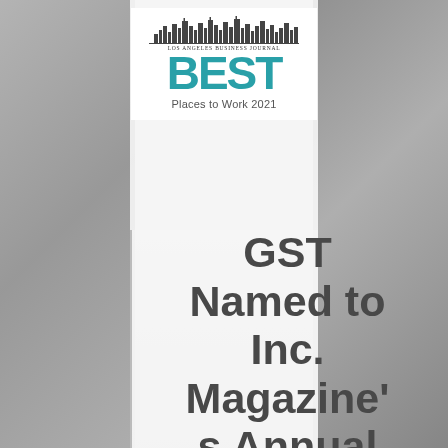[Figure (logo): Los Angeles Business Journal BEST Places to Work 2021 logo with city skyline silhouette]
GST Named to Inc. Magazine's Annual List of Best